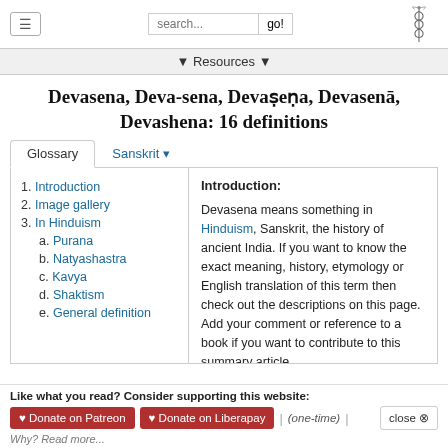search... go!
▼ Resources ▼
Devasena, Deva-sena, Devaṣeṇa, Devasenā, Devashena: 16 definitions
Glossary | Sanskrit ▼
1. Introduction
2. Image gallery
3. In Hinduism
a. Purana
b. Natyashastra
c. Kavya
d. Shaktism
e. General definition
Introduction:
Devasena means something in Hinduism, Sanskrit, the history of ancient India. If you want to know the exact meaning, history, etymology or English translation of this term then check out the descriptions on this page. Add your comment or reference to a book if you want to contribute to this summary article.
The Sanskrit term Devaṣeṇa can be transliterated into
Like what you read? Consider supporting this website: ♥ Donate on Patreon  ♥ Donate on Liberapay  | (one-time) |  close ✕  Why? Read more...